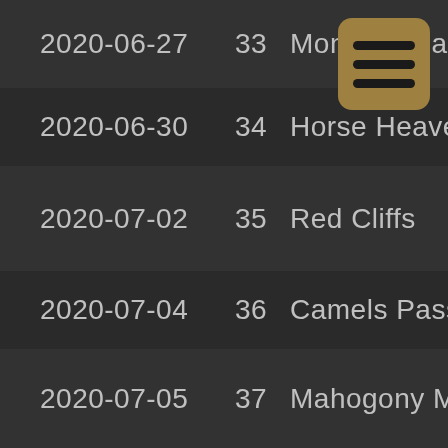2020-06-27  33  Monroe Peak
2020-06-30  34  Horse Heaven Lau
2020-07-02  35  Red Cliffs
2020-07-04  36  Camels Pass
2020-07-05  37  Mahogony Mtn